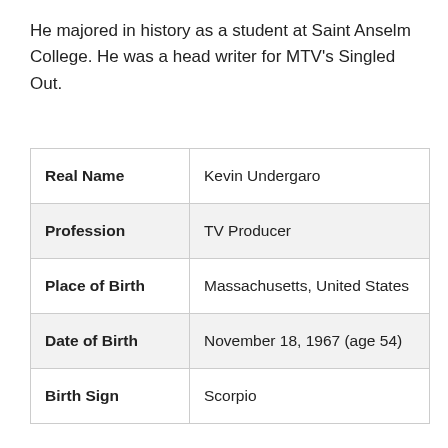He majored in history as a student at Saint Anselm College. He was a head writer for MTV's Singled Out.
| Real Name | Kevin Undergaro |
| Profession | TV Producer |
| Place of Birth | Massachusetts, United States |
| Date of Birth | November 18, 1967 (age 54) |
| Birth Sign | Scorpio |